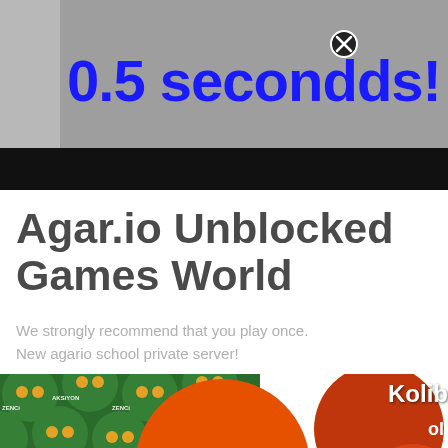[Figure (screenshot): Webpage screenshot showing a gray advertisement box with blue bold text '0.5 seconds!' and a close button icon, with black bar below]
Agar.io Unblocked Games World
We strongly recommend that you play once. New agario school private server!
[Figure (screenshot): Agar.io game screenshot showing green robot-like cell tiles with labels 'ZENCi', 'AKSiYON', large orange circles with 'Hello 2018' text, 'Kolib' text partially visible, scroll-up teal button, and close button]